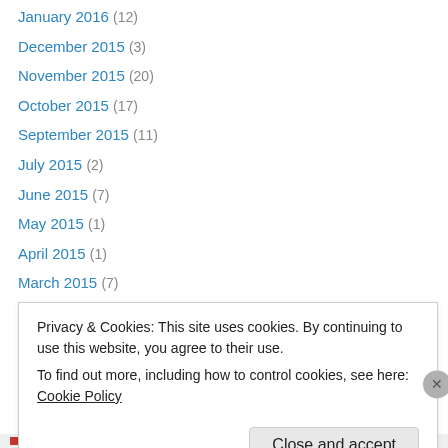January 2016 (12)
December 2015 (3)
November 2015 (20)
October 2015 (17)
September 2015 (11)
July 2015 (2)
June 2015 (7)
May 2015 (1)
April 2015 (1)
March 2015 (7)
February 2015 (17)
January 2015 (5)
December 2014 (2)
Privacy & Cookies: This site uses cookies. By continuing to use this website, you agree to their use. To find out more, including how to control cookies, see here: Cookie Policy